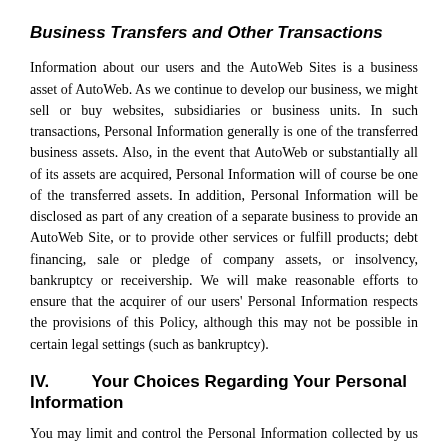Business Transfers and Other Transactions
Information about our users and the AutoWeb Sites is a business asset of AutoWeb. As we continue to develop our business, we might sell or buy websites, subsidiaries or business units. In such transactions, Personal Information generally is one of the transferred business assets. Also, in the event that AutoWeb or substantially all of its assets are acquired, Personal Information will of course be one of the transferred assets. In addition, Personal Information will be disclosed as part of any creation of a separate business to provide an AutoWeb Site, or to provide other services or fulfill products; debt financing, sale or pledge of company assets, or insolvency, bankruptcy or receivership. We will make reasonable efforts to ensure that the acquirer of our users' Personal Information respects the provisions of this Policy, although this may not be possible in certain legal settings (such as bankruptcy).
IV.        Your Choices Regarding Your Personal Information
You may limit and control the Personal Information collected by us in a number of ways.